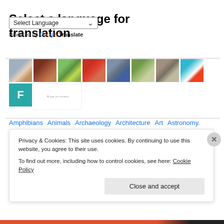Select a language for translation
Select Language
Powered by Google Translate
[Figure (screenshot): A row of photo thumbnails: people on street, brown texture, green plants, red parrot, man with sunglasses, mountain landscape, person in shadows, person on red arrow illustration; second row has teal F tile and small logo]
Amphibians  Animals  Archaeology  Architecture  Art  Astronomy.
Privacy & Cookies: This site uses cookies. By continuing to use this website, you agree to their use.
To find out more, including how to control cookies, see here: Cookie Policy
Close and accept